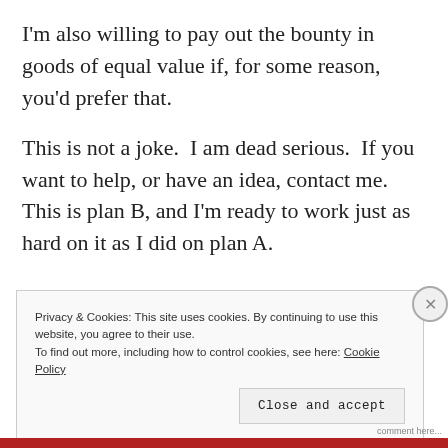I'm also willing to pay out the bounty in goods of equal value if, for some reason, you'd prefer that.
This is not a joke.  I am dead serious.  If you want to help, or have an idea, contact me.  This is plan B, and I'm ready to work just as hard on it as I did on plan A.
Privacy & Cookies: This site uses cookies. By continuing to use this website, you agree to their use.
To find out more, including how to control cookies, see here: Cookie Policy
Close and accept